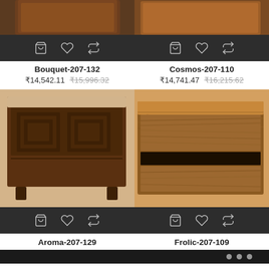[Figure (photo): Dark brown wooden nightstand with carved square panel design on top drawer, small legs, shown at top of left column (partially cropped)]
[Figure (photo): Dark brown wooden nightstand shown at top of right column (partially cropped)]
[Figure (other): Action bar with shopping bag, heart, and swap icons for Bouquet product]
Bouquet-207-132
₹14,542.11  ₹15,996.32
[Figure (other): Action bar with shopping bag, heart, and swap icons for Cosmos product]
Cosmos-207-110
₹14,741.47  ₹16,215.62
[Figure (photo): Dark espresso brown wooden nightstand with geometric carved square panel on upper section and one lower drawer, short block legs]
[Figure (photo): Medium brown wood grain nightstand with one drawer featuring a horizontal cutout handle, no legs]
[Figure (other): Action bar with shopping bag, heart, and swap icons for Aroma product]
Aroma-207-129
[Figure (other): Action bar with shopping bag, heart, and swap icons for Frolic product]
Frolic-207-109